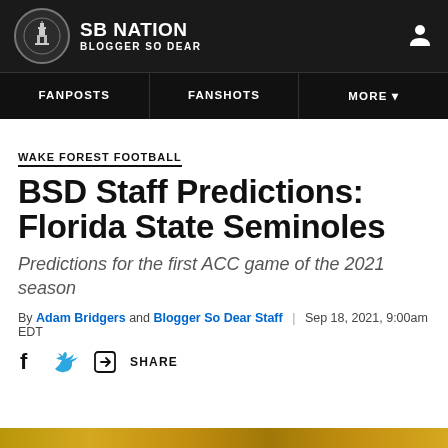SB NATION | BLOGGER SO DEAR
FANPOSTS | FANSHOTS | MORE
WAKE FOREST FOOTBALL
BSD Staff Predictions: Florida State Seminoles
Predictions for the first ACC game of the 2021 season
By Adam Bridgers and Blogger So Dear Staff | Sep 18, 2021, 9:00am EDT
SHARE